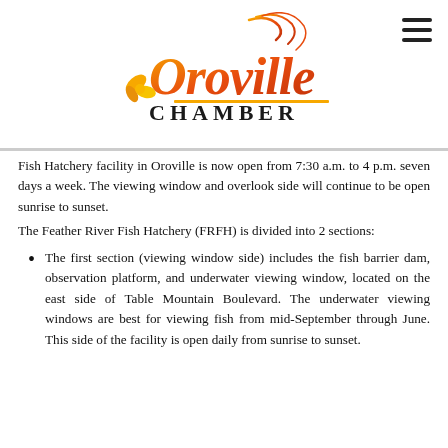[Figure (logo): Oroville Chamber logo with orange/red script text 'Oroville' and serif 'CHAMBER' beneath, with decorative floral element]
Fish Hatchery facility in Oroville is now open from 7:30 a.m. to 4 p.m. seven days a week. The viewing window and overlook side will continue to be open sunrise to sunset.
The Feather River Fish Hatchery (FRFH) is divided into 2 sections:
The first section (viewing window side) includes the fish barrier dam, observation platform, and underwater viewing window, located on the east side of Table Mountain Boulevard. The underwater viewing windows are best for viewing fish from mid-September through June. This side of the facility is open daily from sunrise to sunset.